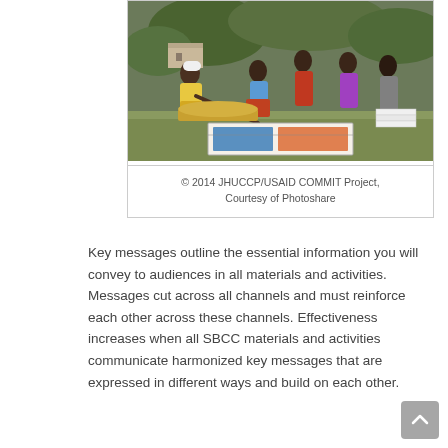[Figure (photo): Group of African women and girls sitting outdoors on grass, looking at a poster/chart on the ground. One woman in white head covering is pointing at the material. Trees and a building visible in background.]
© 2014 JHUCCP/USAID COMMIT Project, Courtesy of Photoshare
Key messages outline the essential information you will convey to audiences in all materials and activities. Messages cut across all channels and must reinforce each other across these channels. Effectiveness increases when all SBCC materials and activities communicate harmonized key messages that are expressed in different ways and build on each other.